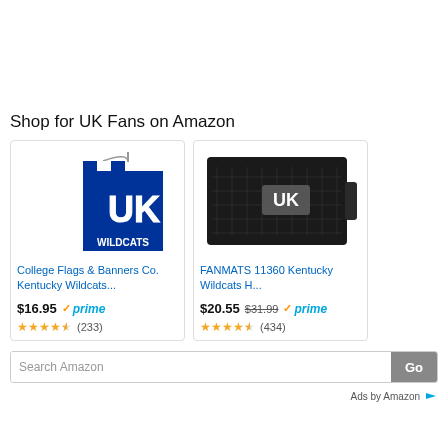Shop for UK Fans on Amazon
[Figure (photo): Kentucky Wildcats garden flag with blue and white checkered top and UK Wildcats logo]
College Flags & Banners Co. Kentucky Wildcats...
$16.95 ✓prime (233 reviews, 4.5 stars)
[Figure (photo): FANMATS Kentucky Wildcats heavy duty rubber door mat with UK logo]
FANMATS 11360 Kentucky Wildcats H...
$20.55 $31.99 ✓prime (434 reviews, 4.5 stars)
Search Amazon
Ads by Amazon